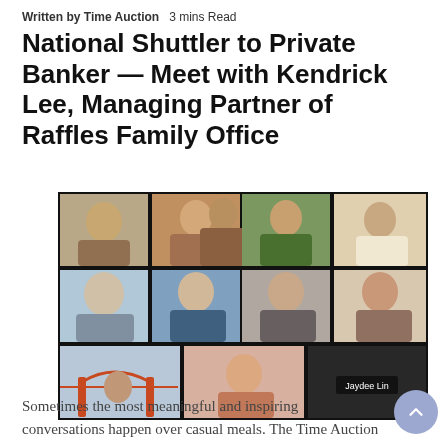Written by Time Auction   3 mins Read
National Shuttler to Private Banker — Meet with Kendrick Lee, Managing Partner of Raffles Family Office
[Figure (photo): A video call screenshot showing a grid of participants, many making peace signs. Bottom row includes a tile labeled 'Jaydee Lin' and one person with a Golden Gate Bridge virtual background.]
Sometimes the most meaningful and inspiring conversations happen over casual meals. The Time Auction